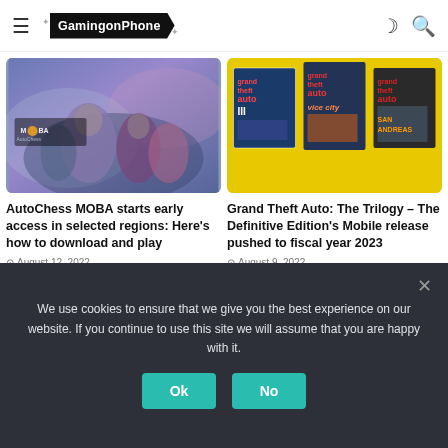GamingonPhone
[Figure (screenshot): AutoChess MOBA game artwork showing fantasy characters with MOBA text overlay]
AutoChess MOBA starts early access in selected regions: Here's how to download and play
August 12, 2022
[Figure (screenshot): Grand Theft Auto Trilogy game covers on yellow background showing GTA III, Vice City, and San Andreas]
Grand Theft Auto: The Trilogy – The Definitive Edition's Mobile release pushed to fiscal year 2023
August 9, 2022
We use cookies to ensure that we give you the best experience on our website. If you continue to use this site we will assume that you are happy with it.